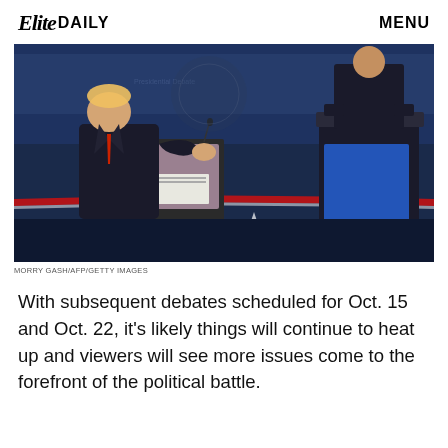Elite DAILY   MENU
[Figure (photo): Two figures standing at debate podiums on a stage with blue and red decorations. One figure on the left gestures with hands while the other stands at a podium on the right with a blue illuminated panel.]
MORRY GASH/AFP/GETTY IMAGES
With subsequent debates scheduled for Oct. 15 and Oct. 22, it's likely things will continue to heat up and viewers will see more issues come to the forefront of the political battle.